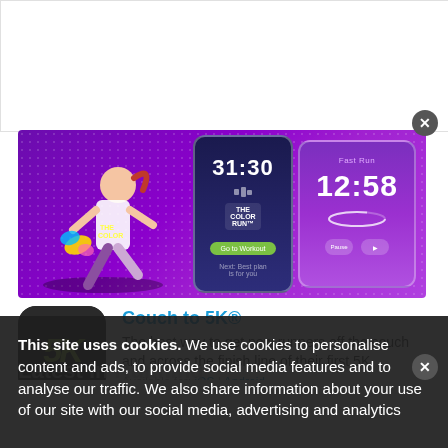[Figure (screenshot): White rectangular ad/banner area at top with a close button (X) in the top right corner]
[Figure (screenshot): Colorful app banner with purple dotted background showing a 3D animated running character (The Color Run theme), left phone screen showing 31:30 timer, right phone screen showing 12:58 fast run timer]
[Figure (screenshot): Couch to 5K app icon: dark rounded square with green-yellow '5K' text in italic bold]
Couch to 5K®
The best way to get new runners off the couch and across the finish line of their first 5K.
Available for: iOS | Android
Latest in Running
This site uses cookies. We use cookies to personalise content and ads, to provide social media features and to analyse our traffic. We also share information about your use of our site with our social media, advertising and analytics